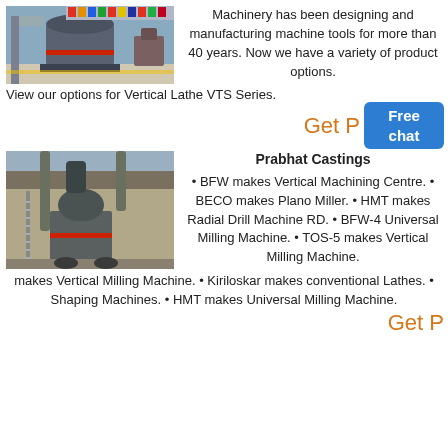[Figure (photo): Industrial vertical mill machine in a large factory hall with flags in background]
Machinery has been designing and manufacturing machine tools for more than 40 years. Now we have a variety of product options. View our options for Vertical Lathe VTS Series.
Get P   Free chat
[Figure (photo): Industrial vertical mill or pulverizer machine outdoors with metal structure and building in background]
Prabhat Castings
BFW makes Vertical Machining Centre. • BECO makes Plano Miller. • HMT makes Radial Drill Machine RD. • BFW-4 Universal Milling Machine. • TOS-5 makes Vertical Milling Machine. • Kiriloskar makes conventional Lathes. • Shaping Machines. • HMT makes Universal Milling Machine.